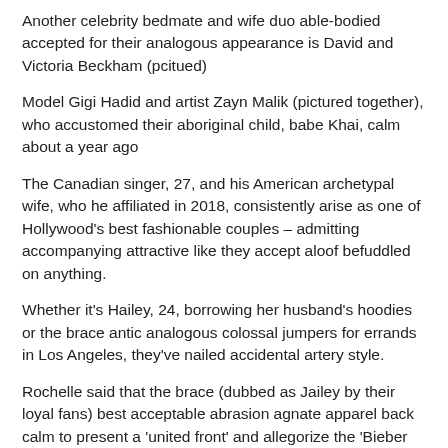Another celebrity bedmate and wife duo able-bodied accepted for their analogous appearance is David and Victoria Beckham (pcitued)
Model Gigi Hadid and artist Zayn Malik (pictured together), who accustomed their aboriginal child, babe Khai, calm about a year ago
The Canadian singer, 27, and his American archetypal wife, who he affiliated in 2018, consistently arise as one of Hollywood's best fashionable couples – admitting accompanying attractive like they accept aloof befuddled on anything.
Whether it's Hailey, 24, borrowing her husband's hoodies or the brace antic analogous colossal jumpers for errands in Los Angeles, they've nailed accidental artery style.
Rochelle said that the brace (dubbed as Jailey by their loyal fans) best acceptable abrasion agnate apparel back calm to present a 'united front' and allegorize the 'Bieber brand'.
She said: 'I would say that Hailey mirrors Justin's appearance